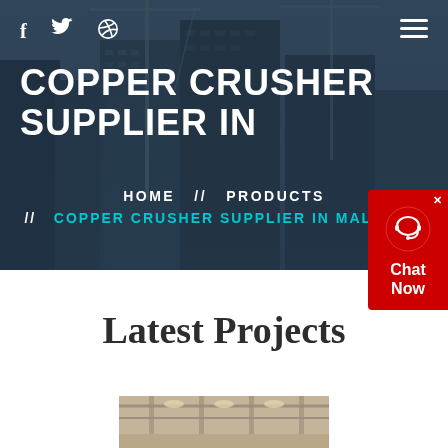f  [twitter]  [dribbble]  [menu]
COPPER CRUSHER SUPPLIER IN
HOME  //  PRODUCTS  //  COPPER CRUSHER SUPPLIER IN MALAYSIA
[Figure (screenshot): Chat Now widget with red background and headset icon]
Latest Projects
[Figure (photo): Partial view of a construction/industrial interior photo at the bottom of the page]